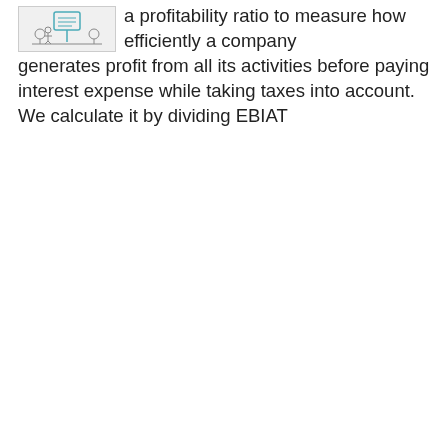[Figure (illustration): A hand-drawn cartoon illustration of a small character or robot-like figure near some kind of sign or board, sketched in teal/green lines on a light background.]
a profitability ratio to measure how efficiently a company generates profit from all its activities before paying interest expense while taking taxes into account. We calculate it by dividing EBIAT